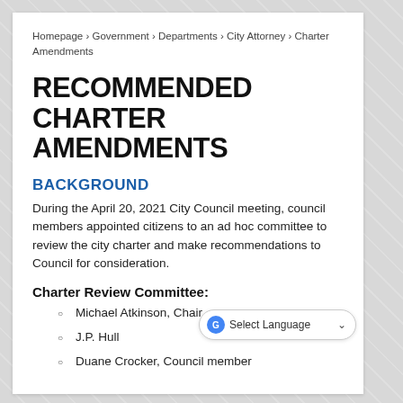Homepage › Government › Departments › City Attorney › Charter Amendments
RECOMMENDED CHARTER AMENDMENTS
BACKGROUND
During the April 20, 2021 City Council meeting, council members appointed citizens to an ad hoc committee to review the city charter and make recommendations to Council for consideration.
Charter Review Committee:
Michael Atkinson, Chair
J.P. Hull
Duane Crocker, Council member